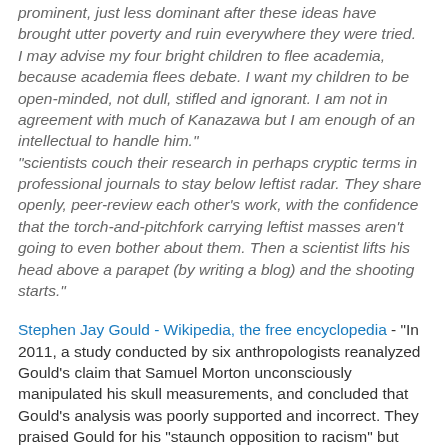prominent, just less dominant after these ideas have brought utter poverty and ruin everywhere they were tried.
I may advise my four bright children to flee academia, because academia flees debate. I want my children to be open-minded, not dull, stifled and ignorant. I am not in agreement with much of Kanazawa but I am enough of an intellectual to handle him."
"scientists couch their research in perhaps cryptic terms in professional journals to stay below leftist radar. They share openly, peer-review each other's work, with the confidence that the torch-and-pitchfork carrying leftist masses aren't going to even bother about them. Then a scientist lifts his head above a parapet (by writing a blog) and the shooting starts."
Stephen Jay Gould - Wikipedia, the free encyclopedia - "In 2011, a study conducted by six anthropologists reanalyzed Gould's claim that Samuel Morton unconsciously manipulated his skull measurements, and concluded that Gould's analysis was poorly supported and incorrect. They praised Gould for his "staunch opposition to racism" but concluded, "we find that Morton's initial reputation as the